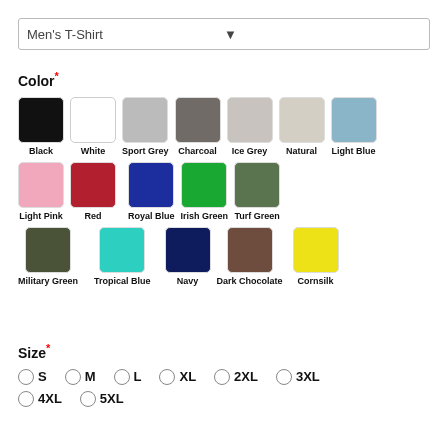Men's T-Shirt
Color*
Black, White, Sport Grey, Charcoal, Ice Grey, Natural, Light Blue
Light Pink, Red, Royal Blue, Irish Green, Turf Green
Military Green, Tropical Blue, Navy, Dark Chocolate, Cornsilk
Size*
S, M, L, XL, 2XL, 3XL, 4XL, 5XL